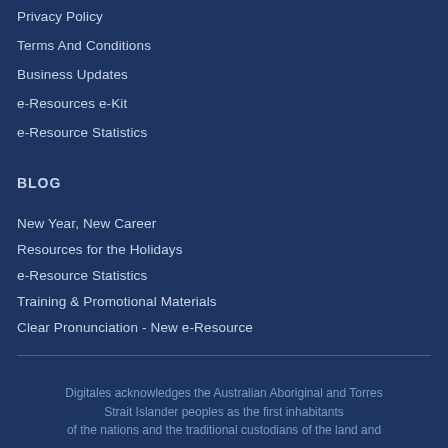Privacy Policy
Terms And Conditions
Business Updates
e-Resources e-Kit
e-Resource Statistics
BLOG
New Year, New Career
Resources for the Holidays
e-Resource Statistics
Training & Promotional Materials
Clear Pronunciation - New e-Resource
Digitales acknowledges the Australian Aboriginal and Torres Strait Islander peoples as the first inhabitants of the nations and the traditional custodians of the land and